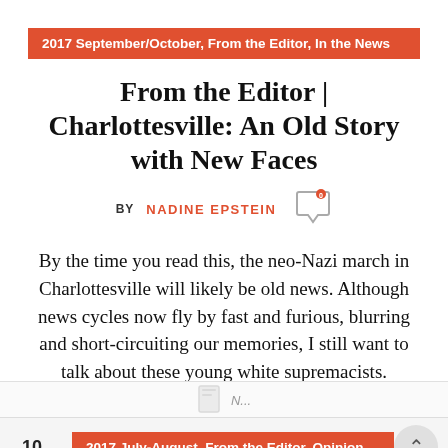2017 September/October, From the Editor, In the News
From the Editor | Charlottesville: An Old Story with New Faces
BY NADINE EPSTEIN
By the time you read this, the neo-Nazi march in Charlottesville will likely be old news. Although news cycles now fly by fast and furious, blurring and short-circuiting our memories, I still want to talk about these young white supremacists.
CONTINUE READING
10   2017 July-August, From the Editor, Opinion